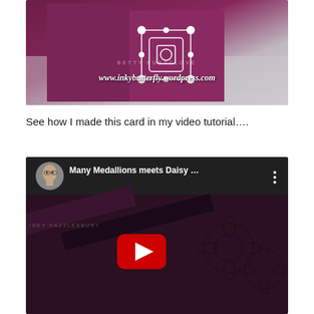[Figure (photo): A crafted greeting card with dark purple/magenta color and white decorative medallion die-cut pattern, shown standing up. URL watermark reads www.inkybutterfly.wordpress.com with Images © Stampin' Up! copyright text.]
See how I made this card in my video tutorial….
[Figure (screenshot): YouTube video thumbnail showing 'Many Medallions meets Daisy …' with a person's avatar, three-dot menu, and a dark video preview showing craft materials with a red YouTube play button overlay.]